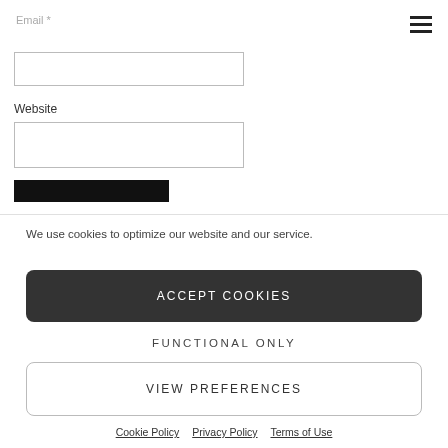Email *
Website
We use cookies to optimize our website and our service.
ACCEPT COOKIES
FUNCTIONAL ONLY
VIEW PREFERENCES
Cookie Policy   Privacy Policy   Terms of Use